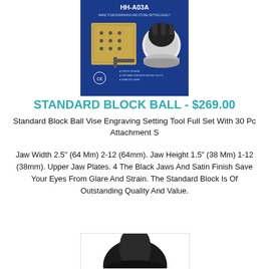[Figure (photo): Product photo of HH-A03A Standard Engraving Block Ball Vise set on blue background showing the block, ball vise, and hex wrench with CE marking]
STANDARD BLOCK BALL - $269.00
Standard Block Ball Vise Engraving Setting Tool Full Set With 30 Pc Attachment S
Jaw Width 2.5" (64 Mm) 2-12 (64mm). Jaw Height 1.5" (38 Mm) 1-12 (38mm). Upper Jaw Plates. 4 The Black Jaws And Satin Finish Save Your Eyes From Glare And Strain. The Standard Block Is Of Outstanding Quality And Value.
[Figure (photo): Partial photo of the ball vise tool showing the black top portion against white background]